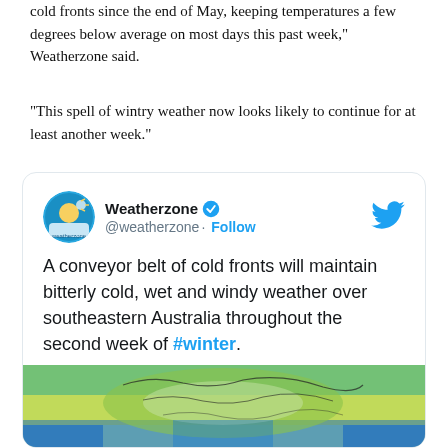cold fronts since the end of May, keeping temperatures a few degrees below average on most days this past week," Weatherzone said.
“This spell of wintry weather now looks likely to continue for at least another week.”
[Figure (screenshot): Embedded tweet from @weatherzone: 'A conveyor belt of cold fronts will maintain bitterly cold, wet and windy weather over southeastern Australia throughout the second week of #winter. More at bit.ly/3xmpXkr' with a weather map image showing Australia with green/yellow/blue temperature or wind map overlay.]